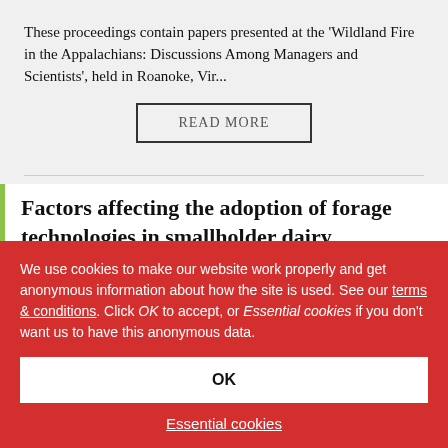These proceedings contain papers presented at the 'Wildland Fire in the Appalachians: Discussions Among Managers and Scientists', held in Roanoke, Vir...
READ MORE
Factors affecting the adoption of forage technologies in smallholder dairy production systems in
We use cookies to make our website work properly and get anonymous information about how the site is used. See our terms & conditions. Click OK to accept, or Essential cookies if you don't want us to have this anonymous data.
OK
Essential cookies